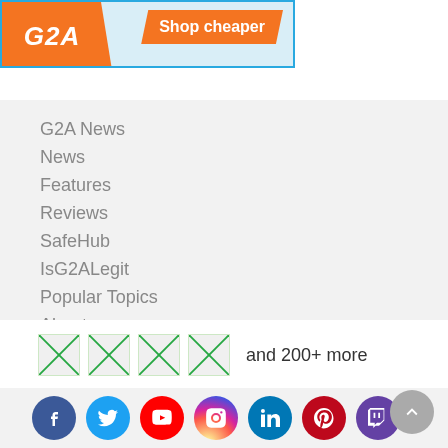[Figure (illustration): G2A banner ad with orange G2A logo on left and 'Shop cheaper' button on right, light blue background with blue border]
G2A News
News
Features
Reviews
SafeHub
IsG2ALegit
Popular Topics
About us
[Figure (illustration): Four small flag icons followed by text 'and 200+ more']
[Figure (illustration): Social media icons: Facebook (dark blue), Twitter (light blue), YouTube (red), Instagram (pink/red gradient), LinkedIn (blue), Pinterest (red), Twitch (purple), and a scroll-to-top button (gray)]